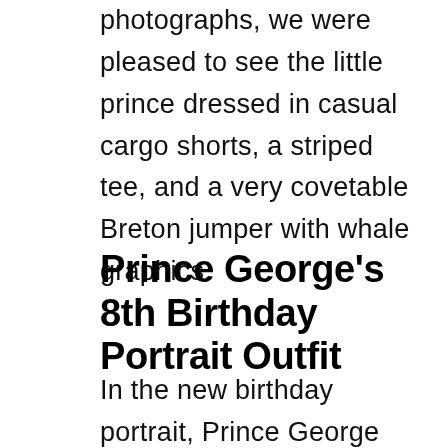photographs, we were pleased to see the little prince dressed in casual cargo shorts, a striped tee, and a very covetable Breton jumper with whale graphics.
Prince George's 8th Birthday Portrait Outfit
In the new birthday portrait, Prince George dressed casually in a striped blue and orange polo with a pair of